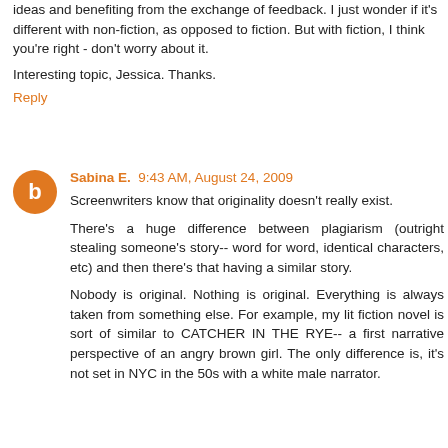ideas and benefiting from the exchange of feedback. I just wonder if it's different with non-fiction, as opposed to fiction. But with fiction, I think you're right - don't worry about it.
Interesting topic, Jessica. Thanks.
Reply
Sabina E.  9:43 AM, August 24, 2009
Screenwriters know that originality doesn't really exist.
There's a huge difference between plagiarism (outright stealing someone's story-- word for word, identical characters, etc) and then there's that having a similar story.
Nobody is original. Nothing is original. Everything is always taken from something else. For example, my lit fiction novel is sort of similar to CATCHER IN THE RYE-- a first narrative perspective of an angry brown girl. The only difference is, it's not set in NYC in the 50s with a white male narrator.